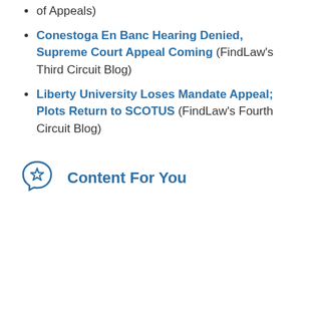of Appeals)
Conestoga En Banc Hearing Denied, Supreme Court Appeal Coming (FindLaw's Third Circuit Blog)
Liberty University Loses Mandate Appeal; Plots Return to SCOTUS (FindLaw's Fourth Circuit Blog)
Content For You